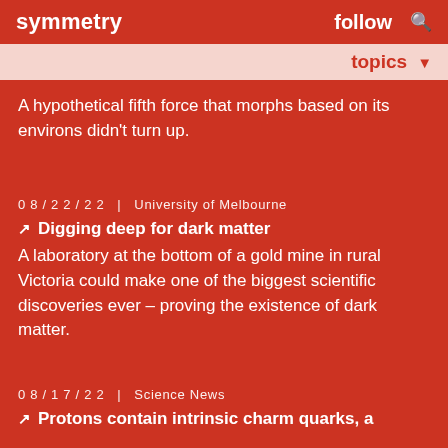symmetry   follow   🔍
topics ▼
A hypothetical fifth force that morphs based on its environs didn't turn up.
08/22/22  |  University of Melbourne
🗗  Digging deep for dark matter
A laboratory at the bottom of a gold mine in rural Victoria could make one of the biggest scientific discoveries ever – proving the existence of dark matter.
08/17/22  |  Science News
🗗  Protons contain intrinsic charm quarks, a